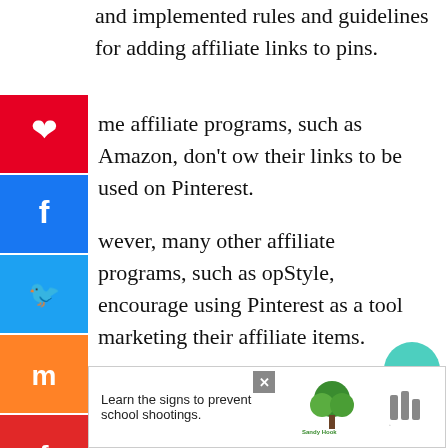and implemented rules and guidelines for adding affiliate links to pins.
Some affiliate programs, such as Amazon, don't allow their links to be used on Pinterest.
However, many other affiliate programs, such as ShopStyle, encourage using Pinterest as a tool for marketing their affiliate items.
In addition to adding affiliate links directly to Pinterest, you can also add links to landing pages for affiliate products.
If you have a solid Pinterest strategy, you can make money through
[Figure (infographic): Social sharing sidebar with icons for Pinterest, Facebook, Twitter, Mix, Flipboard, LinkedIn, heart/like, and Buffer]
[Figure (infographic): Like widget showing heart icon with count 164 and share button]
[Figure (infographic): What's Next card showing 'How to Make Pinterest Pi...']
[Figure (infographic): Advertisement banner: Learn the signs to prevent school shootings. Sandy Hook Promise logo with tree graphic. Close button.]